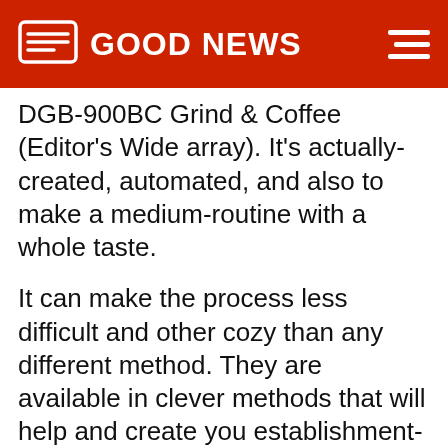GOOD NEWS
DGB-900BC Grind & Coffee (Editor's Wide array). It's actually-created, automated, and also to make a medium-routine with a whole taste.
It can make the process less difficult and other cozy than any different method. They are available in clever methods that will help and create you establishment-layout coffee drinks in minutes. That one vertuo coffee drinks designer goes with a brilliant aromatic variety viii Nespresso pills. Your capsules happens to be reusable, and you will probably put the medicine and revel in amazing as well as to significant